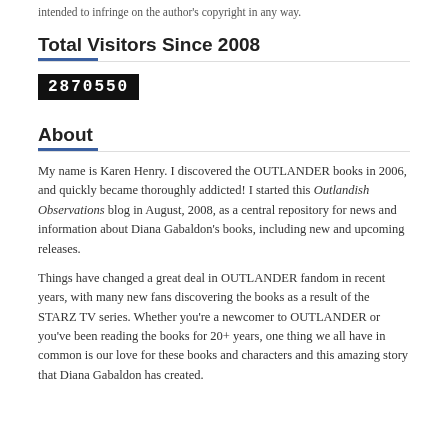intended to infringe on the author's copyright in any way.
Total Visitors Since 2008
2870550
About
My name is Karen Henry. I discovered the OUTLANDER books in 2006, and quickly became thoroughly addicted! I started this Outlandish Observations blog in August, 2008, as a central repository for news and information about Diana Gabaldon's books, including new and upcoming releases.
Things have changed a great deal in OUTLANDER fandom in recent years, with many new fans discovering the books as a result of the STARZ TV series. Whether you're a newcomer to OUTLANDER or you've been reading the books for 20+ years, one thing we all have in common is our love for these books and characters and this amazing story that Diana Gabaldon has created.